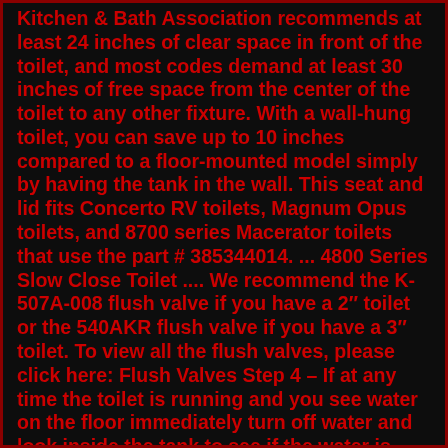Kitchen & Bath Association recommends at least 24 inches of clear space in front of the toilet, and most codes demand at least 30 inches of free space from the center of the toilet to any other fixture. With a wall-hung toilet, you can save up to 10 inches compared to a floor-mounted model simply by having the tank in the wall. This seat and lid fits Concerto RV toilets, Magnum Opus toilets, and 8700 series Macerator toilets that use the part # 385344014. ... 4800 Series Slow Close Toilet .... We recommend the K-507A-008 flush valve if you have a 2″ toilet or the 540AKR flush valve if you have a 3″ toilet. To view all the flush valves, please click here: Flush Valves Step 4 – If at any time the toilet is running and you see water on the floor immediately turn off water and look inside the tank to see if the water is coming from the lid or tank lever area. New Model Sanitary Ware European Universal Shape Soft Close Covers For Toilets Wholesale Toilet Seat , ... Concerto-DU103. Feature: Slow-Close Toilet Seats. Toilet Seat Shape: Round. Toilet Seat Type: Closed Front. Weight: 2.2kg. Width: 377mm. Length: